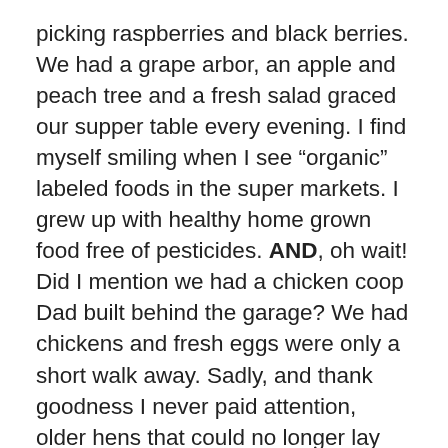picking raspberries and black berries. We had a grape arbor, an apple and peach tree and a fresh salad graced our supper table every evening. I find myself smiling when I see “organic” labeled foods in the super markets. I grew up with healthy home grown food free of pesticides. AND, oh wait! Did I mention we had a chicken coop Dad built behind the garage? We had chickens and fresh eggs were only a short walk away. Sadly, and thank goodness I never paid attention, older hens that could no longer lay eggs…..ended up in Sunday dinner.
What I do find encouraging is a resurgence of community gardens. Residents in many different towns and cities are planting, sowing, weeding and sharing produce among themselves and neighbors in need. Greenmarkets have sprouted in many counties where, once a week, farmers